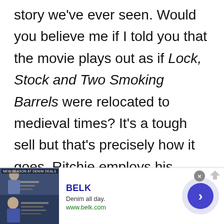story we've ever seen. Would you believe me if I told you that the movie plays out as if Lock, Stock and Two Smoking Barrels were relocated to medieval times? It's a tough sell but that's precisely how it goes. Ritchie employs his razor-sharp use of switchback editing, frenetic back-and-forth dialogue and rock music to craft a cheeky urban thriller out of a classic fantasy adventure. His trademark style married with the
[Figure (other): Advertisement banner for BELK. Shows denim-wearing figures on left image block, BELK brand name in blue, tagline 'Denim all day.', URL 'www.belk.com', close button X, and a right-arrow navigation button.]